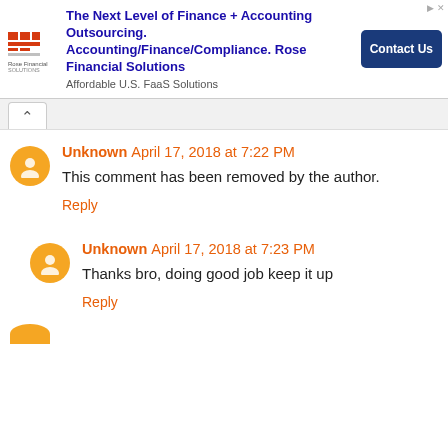[Figure (other): Advertisement banner for Rose Financial Solutions. Logo on left, text about outsourcing accounting/finance/compliance, Contact Us button on right.]
Unknown April 17, 2018 at 7:22 PM
This comment has been removed by the author.
Reply
Unknown April 17, 2018 at 7:23 PM
Thanks bro, doing good job keep it up
Reply